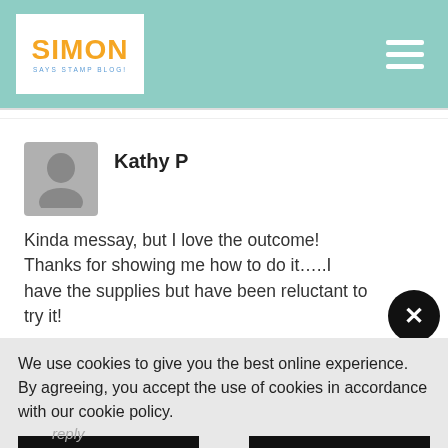Simon Says Stamp Blog
Kathy P
Kinda messay, but I love the outcome! Thanks for showing me how to do it…..I have the supplies but have been reluctant to try it!
We use cookies to give you the best online experience. By agreeing, you accept the use of cookies in accordance with our cookie policy.
DECLINE
I ACCEPT
Privacy Policy   Cookie Policy
reply